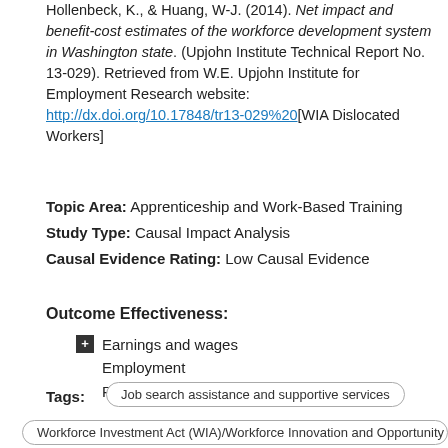Hollenbeck, K., & Huang, W-J. (2014). Net impact and benefit-cost estimates of the workforce development system in Washington state. (Upjohn Institute Technical Report No. 13-029). Retrieved from W.E. Upjohn Institute for Employment Research website: http://dx.doi.org/10.17848/tr13-029%20[WIA Dislocated Workers]
Topic Area: Apprenticeship and Work-Based Training
Study Type: Causal Impact Analysis
Causal Evidence Rating: Low Causal Evidence
Outcome Effectiveness:
Earnings and wages
Employment
Public benefit receipt
Tags:
Job search assistance and supportive services
Workforce Investment Act (WIA)/Workforce Innovation and Opportunity